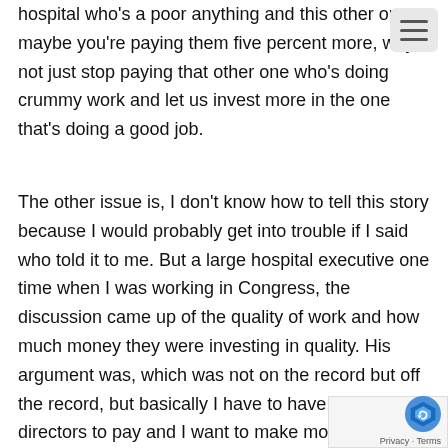hospital who's a poor anything and this other one maybe you're paying them five percent more, why not just stop paying that other one who's doing crummy work and let us invest more in the one that's doing a good job.
The other issue is, I don't know how to tell this story because I would probably get into trouble if I said who told it to me. But a large hospital executive one time when I was working in Congress, the discussion came up of the quality of work and how much money they were investing in quality. His argument was, which was not on the record but off the record, but basically I have to have a board of directors to pay and I want to make money for them and for myself. This to me is a business and a way of making money, I do not consider this necessarily, it's like making anything else, airplane parts or cars, I am not as “help save humanity improve the world.” I'm here as, this is a profit making business just like any other. And I wont' tell you who said it